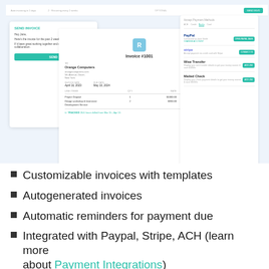[Figure (screenshot): Software UI mockup showing invoice sending panel, Invoice #1001 to Orange Computers, and payment integrations panel with PayPal, Stripe, Wise Transfer, and Mailed Check options.]
Customizable invoices with templates
Autogenerated invoices
Automatic reminders for payment due
Integrated with Paypal, Stripe, ACH (learn more about Payment Integrations)